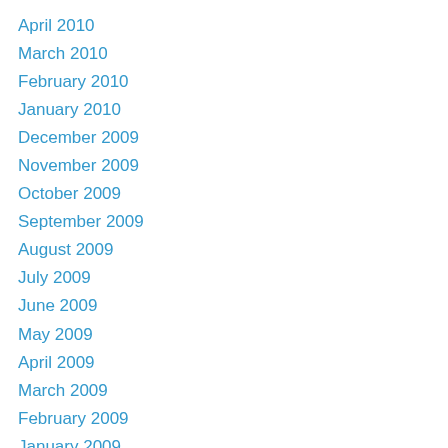April 2010
March 2010
February 2010
January 2010
December 2009
November 2009
October 2009
September 2009
August 2009
July 2009
June 2009
May 2009
April 2009
March 2009
February 2009
January 2009
December 2008
November 2008
October 2008
September 2008